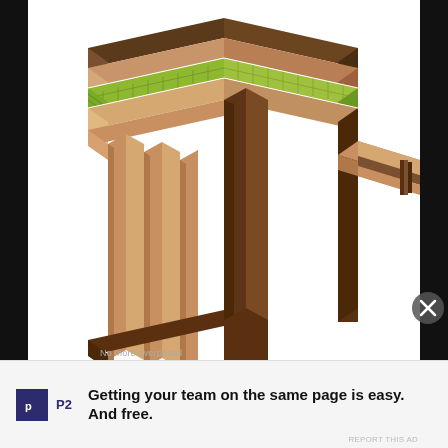[Figure (engineering-diagram): 3D isometric exploded view of a wood-framed wall corner assembly showing structural framing members (dark brown), top plates (tan/light wood), and insulation batts (yellow-green/lime color) installed between framing layers at the corner junction. The assembly shows multiple layers including rim boards, top plates, wall studs, and batt insulation fitting into the framing cavity.]
No more overpriced
P2  Getting your team on the same page is easy. And free.